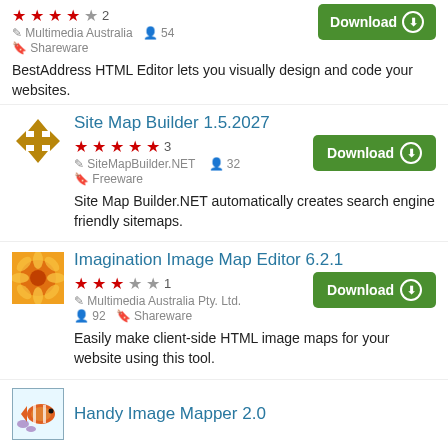BestAddress HTML Editor lets you visually design and code your websites.
Site Map Builder 1.5.2027
Site Map Builder.NET automatically creates search engine friendly sitemaps.
Imagination Image Map Editor 6.2.1
Easily make client-side HTML image maps for your website using this tool.
Handy Image Mapper 2.0